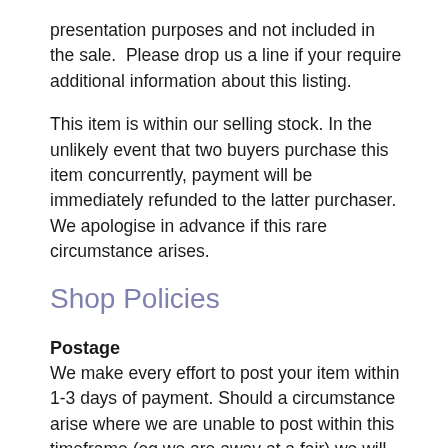presentation purposes and not included in the sale.  Please drop us a line if your require additional information about this listing.
This item is within our selling stock. In the unlikely event that two buyers purchase this item concurrently, payment will be immediately refunded to the latter purchaser. We apologise in advance if this rare circumstance arises.
Shop Policies
Postage
We make every effort to post your item within 1-3 days of payment. Should a circumstance arise where we are unable to post within this timeframe (eg we are away at a fair) we will contact you immediately. Please note that our postage charges are based